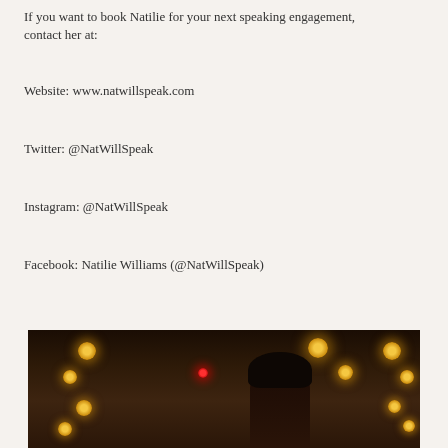If you want to book Natilie for your next speaking engagement, contact her at:
Website: www.natwillspeak.com
Twitter: @NatWillSpeak
Instagram: @NatWillSpeak
Facebook: Natilie Williams (@NatWillSpeak)
[Figure (photo): Stage photo of a woman speaking at a podium with warm yellow stage lights in the background and a red light visible]